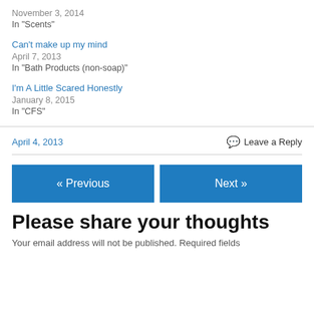November 3, 2014
In "Scents"
Can't make up my mind
April 7, 2013
In "Bath Products (non-soap)"
I'm A Little Scared Honestly
January 8, 2015
In "CFS"
April 4, 2013
Leave a Reply
« Previous
Next »
Please share your thoughts
Your email address will not be published. Required fields